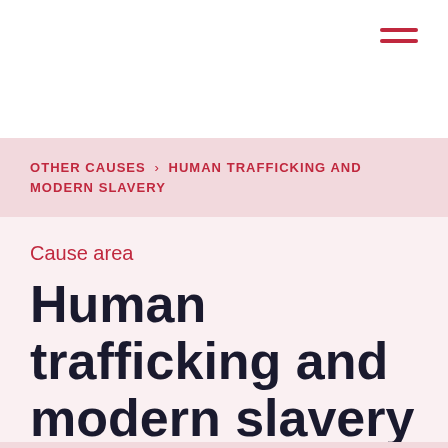OTHER CAUSES › HUMAN TRAFFICKING AND MODERN SLAVERY
Cause area
Human trafficking and modern slavery